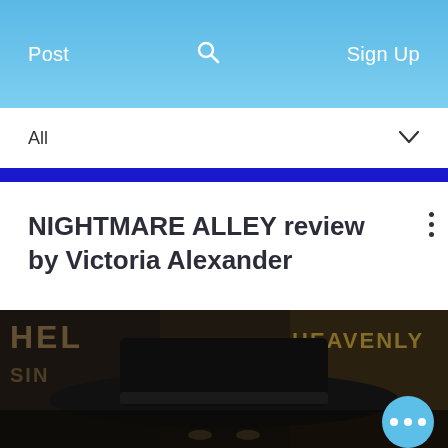Post  🔍  Sign Up
All ∨
[Figure (screenshot): Dark movie promotional image with a person wearing a wide-brimmed black hat, with text overlays reading 'HELL' and 'SINNER' on the left and 'HEAVENLY' on the right, suggesting carnival/noir theme for the film Nightmare Alley]
NIGHTMARE ALLEY review by Victoria Alexander